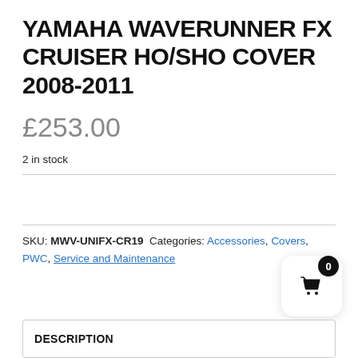YAMAHA WAVERUNNER FX CRUISER HO/SHO COVER 2008-2011
£253.00
2 in stock
SKU: MWV-UNIFX-CR19 Categories: Accessories, Covers, PWC, Service and Maintenance
DESCRIPTION